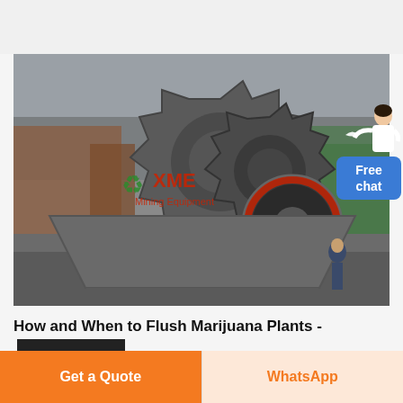[Figure (photo): Industrial machinery photo showing a large metal gear/crusher equipment with XME Mining Equipment logo overlay, photographed outdoors with trees and buildings in background. Gray/dark tones.]
How and When to Flush Marijuana Plants -
Get a Quote
WhatsApp